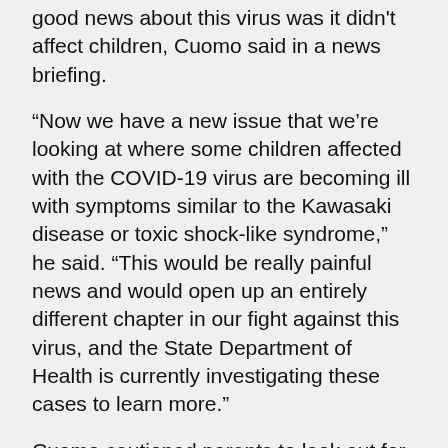good news about this virus was it didn't affect children, Cuomo said in a news briefing.
“Now we have a new issue that we’re looking at where some children affected with the COVID-19 virus are becoming ill with symptoms similar to the Kawasaki disease or toxic shock-like syndrome,” he said. “This would be really painful news and would open up an entirely different chapter in our fight against this virus, and the State Department of Health is currently investigating these cases to learn more.”
Cuomo cautioned parents to look out for symptoms of the illness and to “seek help immediately if your child is sick.”
The Kawasaki disease-like symptoms “may occur days to weeks after acute COVID-19 illness,” the governor’s press release said. It affects primarily toddler to elementary school-age children.